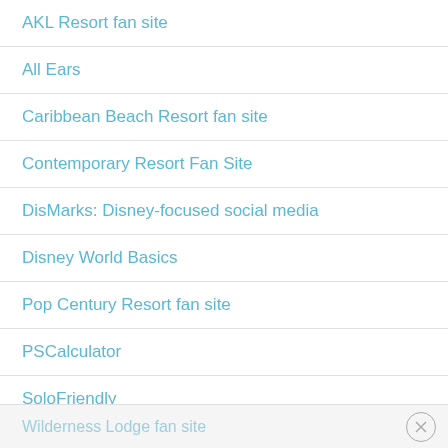AKL Resort fan site
All Ears
Caribbean Beach Resort fan site
Contemporary Resort Fan Site
DisMarks: Disney-focused social media
Disney World Basics
Pop Century Resort fan site
PSCalculator
SoloFriendly
Walt Disney World for Grownups
Wilderness Lodge fan site